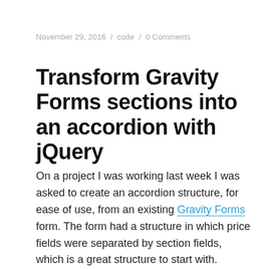November 29, 2016 / code / 0 Comments
Transform Gravity Forms sections into an accordion with jQuery
On a project I was working last week I was asked to create an accordion structure, for ease of use, from an existing Gravity Forms form. The form had a structure in which price fields were separated by section fields, which is a great structure to start with.